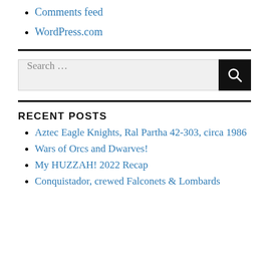Comments feed
WordPress.com
[Figure (other): Horizontal black divider rule]
[Figure (other): Search box with text input placeholder 'Search ...' and black search button with magnifying glass icon]
[Figure (other): Horizontal black divider rule]
RECENT POSTS
Aztec Eagle Knights, Ral Partha 42-303, circa 1986
Wars of Orcs and Dwarves!
My HUZZAH! 2022 Recap
Conquistador, crewed Falconets & Lombards